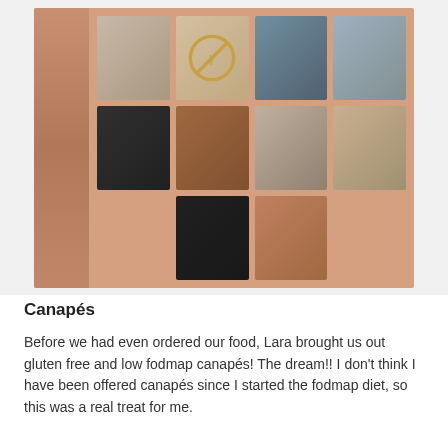[Figure (photo): A collage of photos pinned to a wall showing people at social gatherings, dining, and taking selfies, along with a gluten-free symbol sign.]
Canapés
Before we had even ordered our food, Lara brought us out gluten free and low fodmap canapés! The dream!! I don't think I have been offered canapés since I started the fodmap diet, so this was a real treat for me.